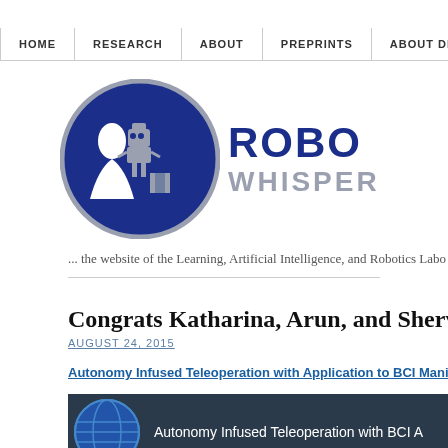HOME | RESEARCH | ABOUT | PREPRINTS | ABOUT DREW
[Figure (logo): Robot Whisperer logo with blue circle containing silhouette of person and robot, next to stylized text ROBOT WHISPERER]
... the website of the Learning, Artificial Intelligence, and Robotics Labo
Congrats Katharina, Arun, and Shervin! RSS 2
AUGUST 24, 2015
Autonomy Infused Teleoperation with Application to BCI Manipula
[Figure (screenshot): Video thumbnail showing globe icon and text: Autonomy Infused Teleoperation with BCI A on dark background]